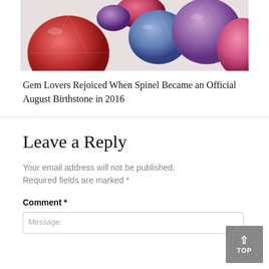[Figure (photo): A collection of colorful gemstones including pink, red, blue, lavender, and purple faceted stones (spinels) arranged on a white background.]
Gem Lovers Rejoiced When Spinel Became an Official August Birthstone in 2016
Leave a Reply
Your email address will not be published. Required fields are marked *
Comment *